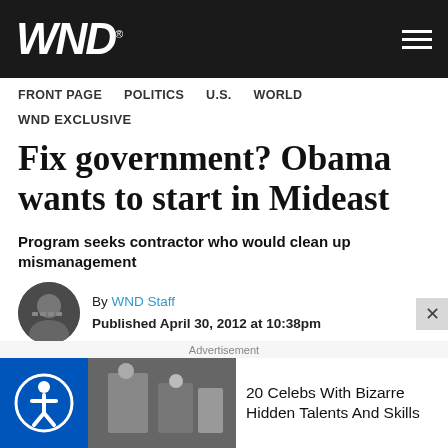WND
FRONT PAGE   POLITICS   U.S.   WORLD
WND EXCLUSIVE
Fix government? Obama wants to start in Mideast
Program seeks contractor who would clean up mismanagement
By WND Staff
Published April 30, 2012 at 10:38pm
Advertisement
20 Celebs With Bizarre Hidden Talents And Skills